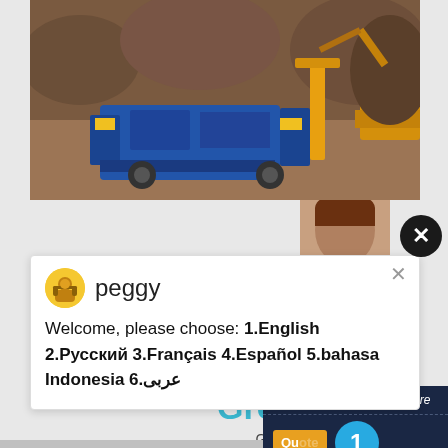[Figure (photo): Mining site with blue and yellow grinding/crushing machinery surrounded by rocky terrain, with an excavator in the background]
peggy
Welcome, please choose: 1.English  2.Русский 3.Français 4.Español  5.bahasa Indonesia  6.عربى
Growth, Trend, Forec...
Grinding Mills Market Size and Forecasts 2021 to 20... Grinding Mills Market witnessed a rapid growth in th... from 2016 to 2019 and is anticipated to witness sig... during the forecast period. Global Grinding Mills Mark...
CHAT ONLINE
Have any requests, click here
Qu...
1
Enquiry
limingjlmofen@sina.com